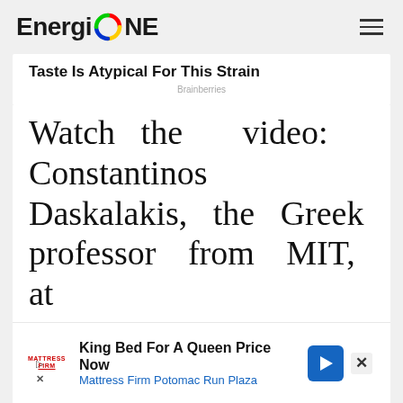EnergioNE
Taste Is Atypical For This Strain
Brainberries
Watch the video: Constantinos Daskalakis, the Greek professor from MIT, at Onassis Stegi
[Figure (infographic): Bottom advertisement banner: Mattress Firm logo, 'King Bed For A Queen Price Now', 'Mattress Firm Potomac Run Plaza', blue navigation arrow icon, with play and close controls]